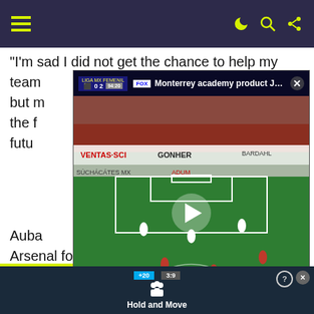Navigation bar with hamburger menu and icons
"I'm sad I did not get the chance to help my team... but m... and the f... the futu...
[Figure (screenshot): Video player overlay showing a soccer/football match with Monterrey branding. Title reads 'Monterrey academy product Jazi...' with a play button in the center and a close button (X) in the top right corner.]
Auba... s for Arsenal following his £56m arrival from Borussia Dortmund and captained the side to FA Cup success in 2020, scoring twice in the final win over Chelsea at Wembley.
Read: Winners and Losers: Janua...
[Figure (screenshot): Bottom advertisement banner showing a basketball scoreboard app 'Hold and Move' with a question mark and close button.]